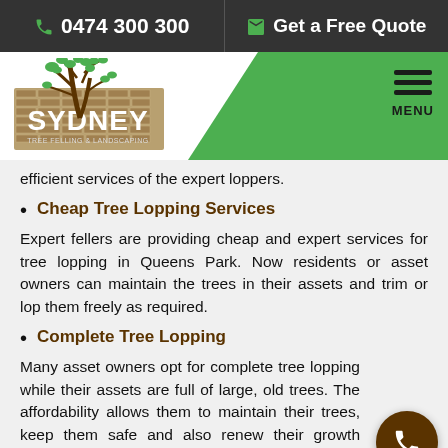0474 300 300 | Get a Free Quote
[Figure (logo): Sydney Tree Felling & Landscaping logo with tree illustration and green nav bar with MENU button]
efficient services of the expert loppers.
Cheap Tree Lopping Services
Expert fellers are providing cheap and expert services for tree lopping in Queens Park. Now residents or asset owners can maintain the trees in their assets and trim or lop them freely as required.
Complete Tree Lopping
Many asset owners opt for complete tree lopping while their assets are full of large, old trees. The affordability allows them to maintain their trees, keep them safe and also renew their growth easily.